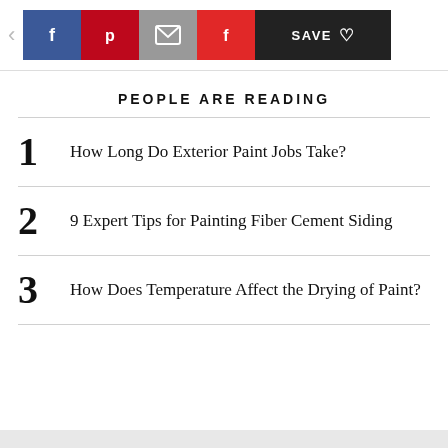Share buttons: Facebook, Pinterest, Email, Flipboard, Save
PEOPLE ARE READING
1 How Long Do Exterior Paint Jobs Take?
2 9 Expert Tips for Painting Fiber Cement Siding
3 How Does Temperature Affect the Drying of Paint?